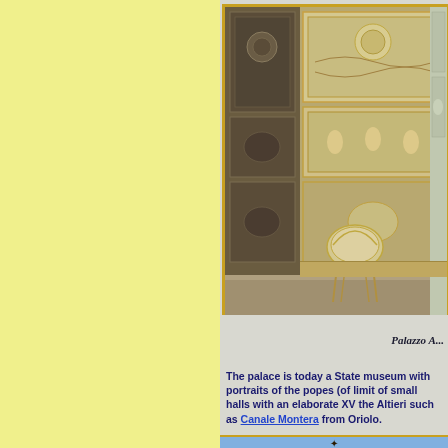[Figure (photo): Interior of an ornately decorated palatial room with elaborate wall panels, gilded moldings, fresco decorations, and a single classical chair. The walls feature intricate XVIII century decorative painting with geometric and figurative motifs.]
Palazzo A...
The palace is today a State museum with portraits of the popes (of limit of small halls with an elaborate XV the Altieri such as Canale Montera from Oriolo.